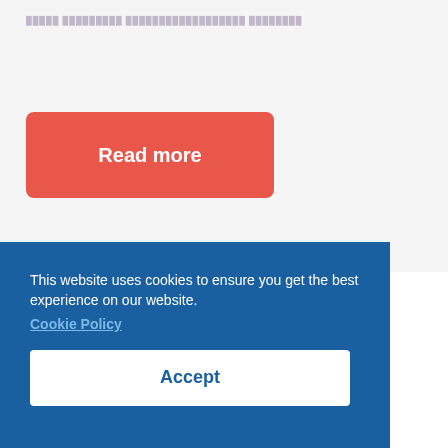█████ █████████ ██████████████████ ████████
Read more
This website uses cookies to ensure you get the best experience on our website.
Cookie Policy
Accept